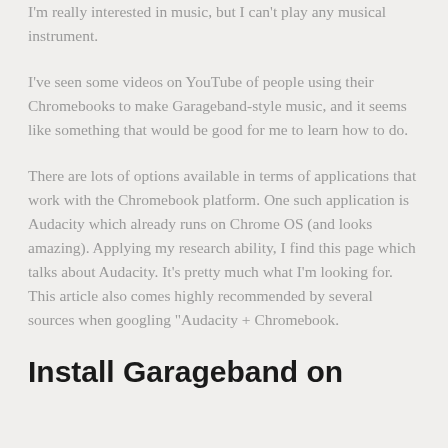I'm really interested in music, but I can't play any musical instrument.
I've seen some videos on YouTube of people using their Chromebooks to make Garageband-style music, and it seems like something that would be good for me to learn how to do.
There are lots of options available in terms of applications that work with the Chromebook platform. One such application is Audacity which already runs on Chrome OS (and looks amazing). Applying my research ability, I find this page which talks about Audacity. It’s pretty much what I’m looking for. This article also comes highly recommended by several sources when googling “Audacity + Chromebook.
Install Garageband on